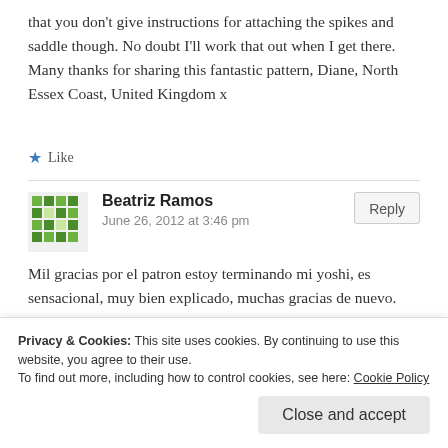that you don't give instructions for attaching the spikes and saddle though. No doubt I'll work that out when I get there. Many thanks for sharing this fantastic pattern, Diane, North Essex Coast, United Kingdom x
★ Like
Beatriz Ramos
June 26, 2012 at 3:46 pm
Mil gracias por el patron estoy terminando mi yoshi, es sensacional, muy bien explicado, muchas gracias de nuevo. Muchos saludos desde Taxcoco, Mexico
Privacy & Cookies: This site uses cookies. By continuing to use this website, you agree to their use.
To find out more, including how to control cookies, see here: Cookie Policy
Close and accept